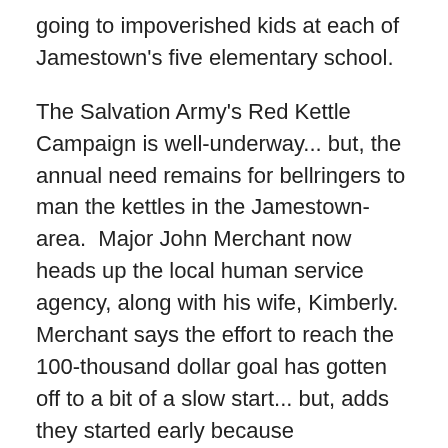going to impoverished kids at each of Jamestown's five elementary school.
The Salvation Army's Red Kettle Campaign is well-underway... but, the annual need remains for bellringers to man the kettles in the Jamestown-area.  Major John Merchant now heads up the local human service agency, along with his wife, Kimberly.  Merchant says the effort to reach the 100-thousand dollar goal has gotten off to a bit of a slow start... but, adds they started early because Thanksgiving is late this year.  He says they had many openings yesterday... and, even more today. Merchant says they're pretty flexible on what bellringer's time commitments are.  He says they can be for an hour to 2 or 3.  Merchant says they'll be helping about 620 families during the holiday season... but, adds the need for their food pantry has jumped -- for basically two reasons. Merchant says the Red Kettle Campaign has raised